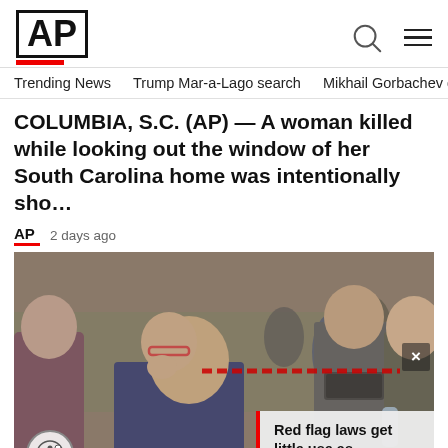AP
Trending News   Trump Mar-a-Lago search   Mikhail Gorbachev d
COLUMBIA, S.C. (AP) — A woman killed while looking out the window of her South Carolina home was intentionally sho…
AP  2 days ago
[Figure (photo): Crowd of people outdoors, a woman in the foreground appearing distressed, overlaid with a news card reading 'Red flag laws get little use as shootings, gun de...']